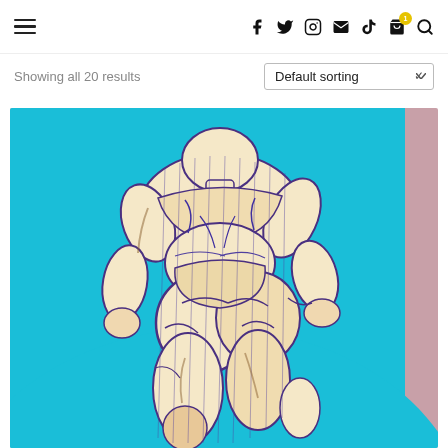Navigation bar with hamburger menu, social icons (Facebook, Twitter, Instagram, Email, TikTok), cart with badge (1), and search icon
Showing all 20 results
Default sorting
[Figure (illustration): A muscular human figure drawn in purple/blue ink on turquoise/cyan colored paper. The figure is viewed from behind in a crouching or bent-over pose, showing detailed muscle anatomy. The drawing style uses hatching lines and bold outlines on colored paper with a pink/mauve border visible at the edge.]